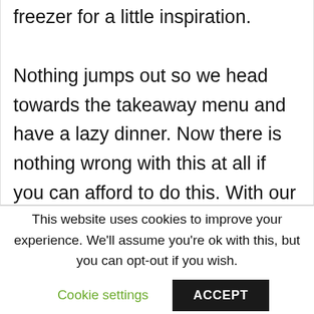freezer for a little inspiration. Nothing jumps out so we head towards the takeaway menu and have a lazy dinner. Now there is nothing wrong with this at all if you can afford to do this. With our journey though, this is not really an option for us, although I did share a post recently on changing our food
This website uses cookies to improve your experience. We'll assume you're ok with this, but you can opt-out if you wish.
Cookie settings
ACCEPT